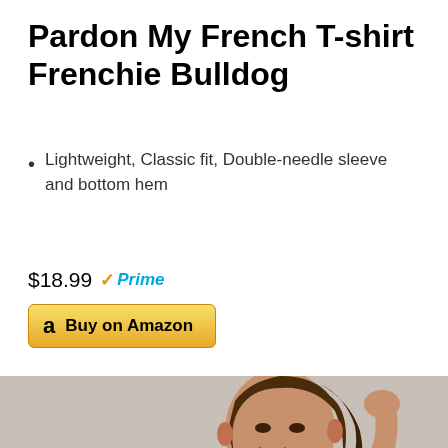Pardon My French T-shirt Frenchie Bulldog
Lightweight, Classic fit, Double-needle sleeve and bottom hem
$18.99 Prime
Buy on Amazon
[Figure (photo): Woman wearing a grey t-shirt with colorful cat print pattern and white polka dots, smiling with hand raised near her head]